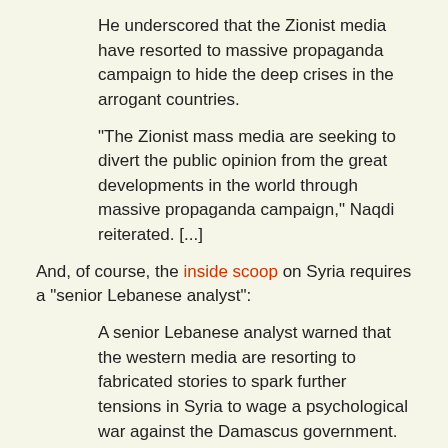He underscored that the Zionist media have resorted to massive propaganda campaign to hide the deep crises in the arrogant countries.
"The Zionist mass media are seeking to divert the public opinion from the great developments in the world through massive propaganda campaign," Naqdi reiterated. [...]
And, of course, the inside scoop on Syria requires a "senior Lebanese analyst":
A senior Lebanese analyst warned that the western media are resorting to fabricated stories to spark further tensions in Syria to wage a psychological war against the Damascus government.
"Since several months ago, satellite channels, internet websites, TV and radio channels, newspapers and media in and outside the region have embarked on waging intensive media...